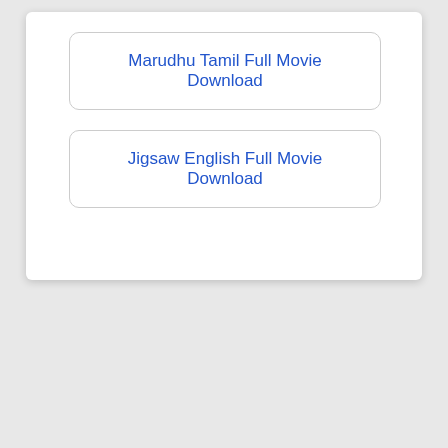Marudhu Tamil Full Movie Download
Jigsaw English Full Movie Download